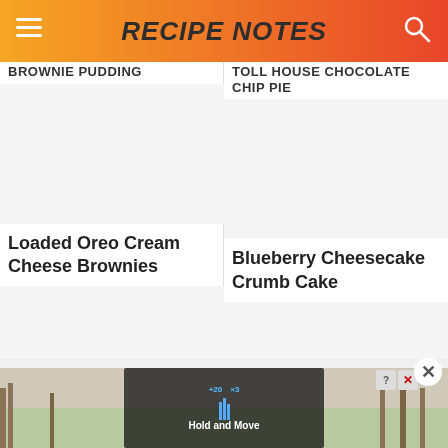RECIPE NOTES
BROWNIE PUDDING
TOLL HOUSE CHOCOLATE CHIP PIE
[Figure (photo): Image placeholder for Loaded Oreo Cream Cheese Brownies recipe]
[Figure (photo): Image placeholder for Blueberry Cheesecake Crumb Cake recipe]
Loaded Oreo Cream Cheese Brownies
Blueberry Cheesecake Crumb Cake
[Figure (photo): Advertisement banner at bottom showing Hold and Move app with trees in background]